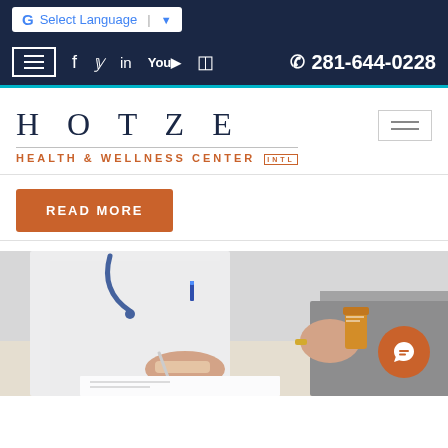Select Language | ▼
≡  f  𝕏  in  You  ☷  📞 281-644-0228
[Figure (logo): Hotze Health & Wellness Center INTL logo]
READ MORE
[Figure (photo): Doctor in white coat writing notes while patient holds a prescription bottle]